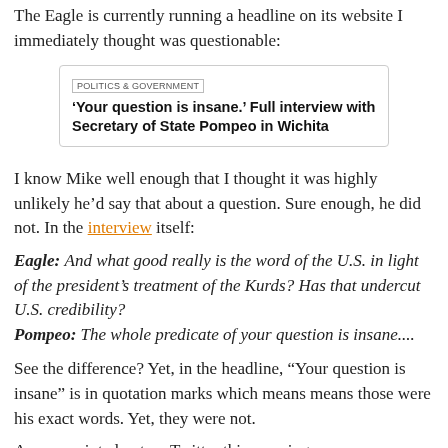The Eagle is currently running a headline on its website I immediately thought was questionable:
[Figure (screenshot): Screenshot of a news headline box showing 'POLITICS & GOVERNMENT' tag and headline: '‘Your question is insane.’ Full interview with Secretary of State Pompeo in Wichita']
I know Mike well enough that I thought it was highly unlikely he’d say that about a question. Sure enough, he did not. In the interview itself:
Eagle: And what good really is the word of the U.S. in light of the president’s treatment of the Kurds? Has that undercut U.S. credibility?
Pompeo: The whole predicate of your question is insane....
See the difference? Yet, in the headline, "Your question is insane" is in quotation marks which means means those were his exact words. Yet, they were not.
As was pointed out on Twitter this morning:
[Figure (screenshot): Tweet by Emerald Robinson (@Eme... 1h): Do you notice what’s happened to corporate media?]